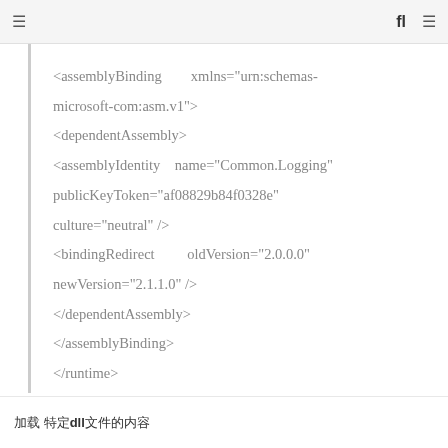☰  fl  ☰
<assemblyBinding xmlns="urn:schemas-microsoft-com:asm.v1">
<dependentAssembly>
<assemblyIdentity name="Common.Logging" publicKeyToken="af08829b84f0328e" culture="neutral" />
<bindingRedirect oldVersion="2.0.0.0" newVersion="2.1.1.0" />
</dependentAssembly>
</assemblyBinding>
</runtime>
加载 特定dll文件的内容